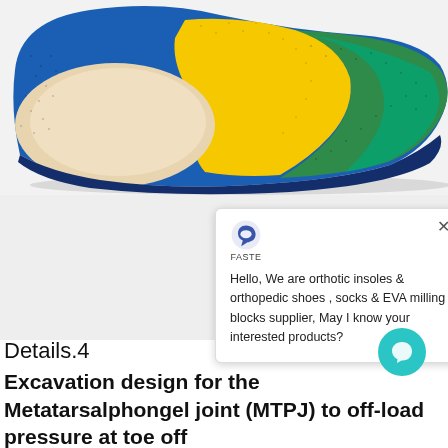[Figure (photo): Orthotic insole with multiple colored zones — blue outer shell, cream-colored heel cup area, yellow metatarsal pad section, and green toe/forefoot area with textured surface. Viewed from above at slight angle on white background.]
[Figure (screenshot): Chat popup widget with FASTE logo showing message: 'Hello, We are orthotic insoles & orthopedic shoes , socks & EVA milling blocks supplier, May I know your interested products?' with close X button and teal chat bubble icon.]
Details.4
Excavation design for the Metatarsalphongel joint (MTPJ) to off-load pressure at toe off in gait cycle.